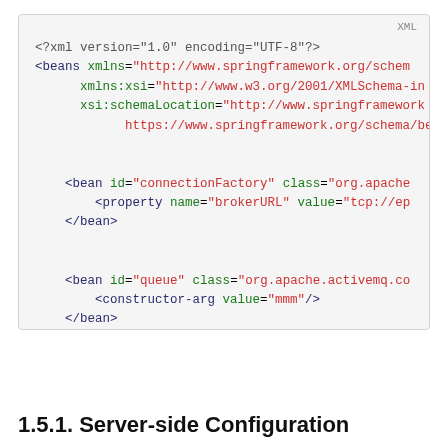[Figure (screenshot): XML code block showing Spring beans configuration with connectionFactory and queue beans, on a light gray background with 'XML' label in top-right corner.]
1.5.1. Server-side Configuration